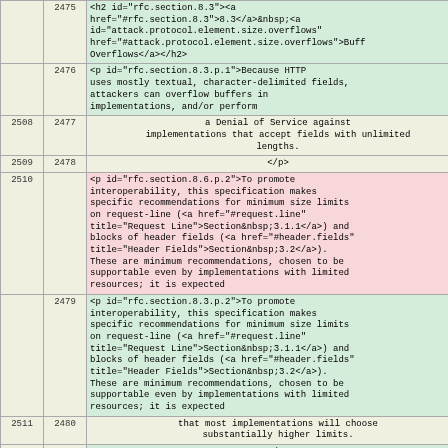| col-a | col-b | content |
| --- | --- | --- |
|  | 2475 | <h2 id="rfc.section.8.3"><a href="#rfc.section.8.3">8.3</a>&nbsp;<a id="attack.protocol.element.size.overflows" href="#attack.protocol.element.size.overflows">Buff Overflows</a></h2> |
|  | 2476 | <p id="rfc.section.8.3.p.1">Because HTTP uses mostly textual, character-delimited fields, attackers can overflow buffers in implementations, and/or perform |
| 2508 | 2477 | a Denial of Service against implementations that accept fields with unlimited lengths. |
| 2509 | 2478 | </p> |
| 2510 |  | <p id="rfc.section.8.6.p.2">To promote interoperability, this specification makes specific recommendations for minimum size limits on request-line (<a href="#request.line" title="Request Line">Section&nbsp;3.1.1</a>) and blocks of header fields (<a href="#header.fields" title="Header Fields">Section&nbsp;3.2</a>). These are minimum recommendations, chosen to be supportable even by implementations with limited resources; it is expected |
|  | 2479 | <p id="rfc.section.8.3.p.2">To promote interoperability, this specification makes specific recommendations for minimum size limits on request-line (<a href="#request.line" title="Request Line">Section&nbsp;3.1.1</a>) and blocks of header fields (<a href="#header.fields" title="Header Fields">Section&nbsp;3.2</a>). These are minimum recommendations, chosen to be supportable even by implementations with limited resources; it is expected |
| 2511 | 2480 | that most implementations will choose substantially higher limits. |
| 2512 | 2481 | </p> |